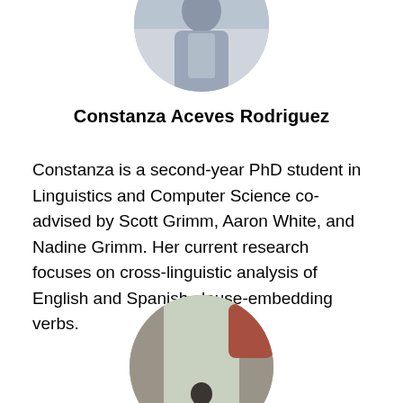[Figure (photo): Circular cropped photo of Constanza Aceves Rodriguez, partially visible at top of page]
Constanza Aceves Rodriguez
Constanza is a second-year PhD student in Linguistics and Computer Science co-advised by Scott Grimm, Aaron White, and Nadine Grimm. Her current research focuses on cross-linguistic analysis of English and Spanish clause-embedding verbs.
[Figure (photo): Circular cropped photo of another person standing between stone columns on a campus, partially visible at bottom of page]